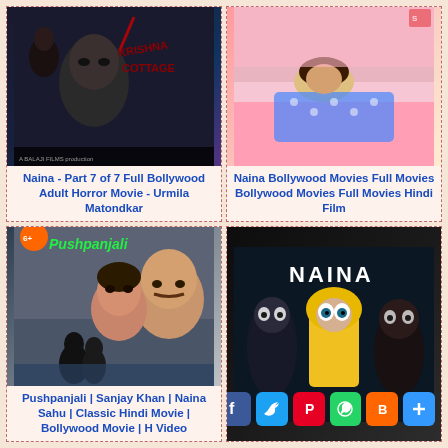[Figure (photo): Movie poster for Naina - Krishna Cottage horror film with a man's face and text]
Naina - Part 7 of 7 Full Bollywood Adult Horror Movie - Urmila Matondkar
[Figure (photo): Screenshot of a woman lying on a bed in colorful pajamas from Naina Bollywood movie]
Naina Bollywood Movies Full Movies Bollywood Movies Full Movies Hindi Film
[Figure (photo): Movie poster for Pushpanjali classic Hindi movie featuring Sanjay Khan and Naina Sahu]
Pushpanjali | Sanjay Khan | Naina Sahu | Classic Hindi Movie | Bollywood Movie | H Video
[Figure (photo): Movie poster for Naina horror film showing two children and a woman in yellow raincoat with large eyes]
[Figure (infographic): Social media sharing buttons: Facebook, Twitter, Pinterest, WhatsApp, Blogger, and a plus button]